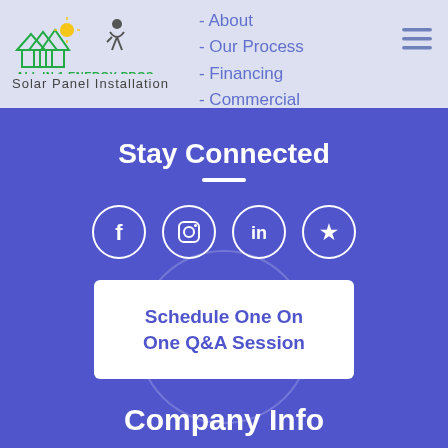[Figure (logo): All In 1 Energy Pros solar panel installation company logo with house and sun graphic]
Solar Panel Installation
- About
- Our Process
- Financing
- Commercial
Stay Connected
[Figure (infographic): Social media icons: Facebook, Instagram, LinkedIn, Yelp — white circle outlines on blue background]
Schedule One On One Q&A Session
Company Info